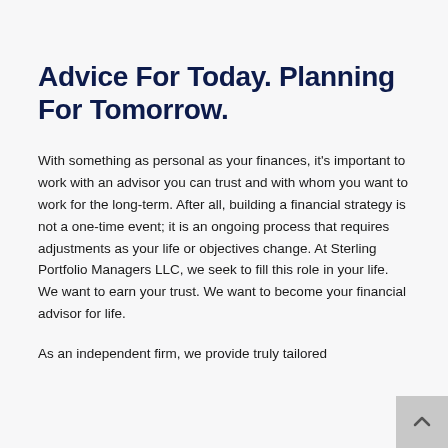Advice For Today. Planning For Tomorrow.
With something as personal as your finances, it's important to work with an advisor you can trust and with whom you want to work for the long-term. After all, building a financial strategy is not a one-time event; it is an ongoing process that requires adjustments as your life or objectives change. At Sterling Portfolio Managers LLC, we seek to fill this role in your life. We want to earn your trust. We want to become your financial advisor for life.
As an independent firm, we provide truly tailored